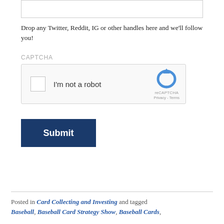[Figure (screenshot): Empty textarea input box with a light border]
Drop any Twitter, Reddit, IG or other handles here and we'll follow you!
CAPTCHA
[Figure (screenshot): reCAPTCHA widget with checkbox labeled 'I'm not a robot' and reCAPTCHA logo with Privacy and Terms links]
[Figure (screenshot): Submit button — dark navy blue rectangle with white bold text 'Submit']
Posted in Card Collecting and Investing and tagged Baseball, Baseball Card Strategy Show, Baseball Cards,